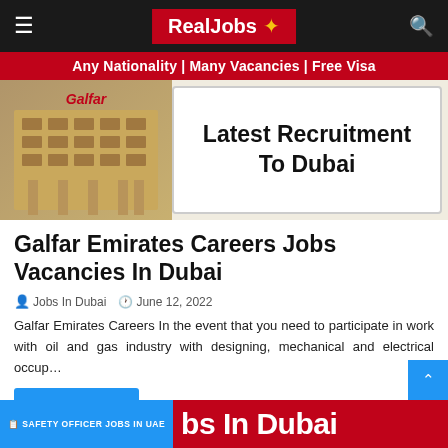RealJobs
[Figure (illustration): Red banner advertisement saying 'Any Nationality | Many Vacancies | Free Visa' with a Galfar building image on the left and 'Latest Recruitment To Dubai' text on the right]
Galfar Emirates Careers Jobs Vacancies In Dubai
Jobs In Dubai   June 12, 2022
Galfar Emirates Careers In the event that you need to participate in work with oil and gas industry with designing, mechanical and electrical occup...
Read more →
[Figure (infographic): Bottom red banner with blue label 'SAFETY OFFICER JOBS IN UAE' and large white text 'bs In Dubai']